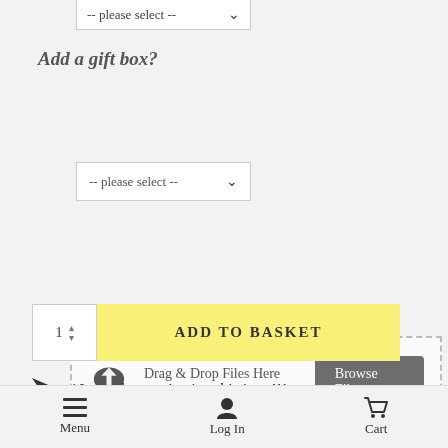[Figure (screenshot): Dropdown selector showing '-- please select --' (partially visible at top)]
Add a gift box?
[Figure (screenshot): Dropdown selector showing '-- please select --' for gift box option]
[Figure (screenshot): File upload area with cloud upload icon, 'Drag & Drop Files Here or Browse Files' button, and '0 of 10' count]
[Figure (screenshot): Quantity input box showing '1' with up/down arrows and yellow 'ADD TO BASKET' button]
10 people are viewing this item!!!
Menu   Log In   Cart